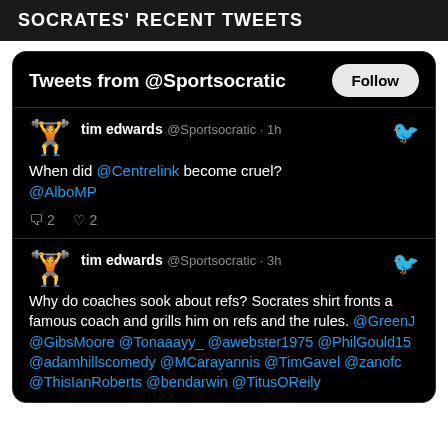SOCRATES' RECENT TWEETS
Tweets from @Sportsocratic
tim edwards @Sportsocratic · 1h
When did @Centrelink become cruel?
@AlboMP
♡ 2  ♡ 2
tim edwards @Sportsocratic · 3h
Why do coaches sook about refs? Socrates shirt fronts a famous coach and grills him on refs and the rules. @GreenJ @GibsMoore @Tonaaayy_ @awebster1975 @PhilGould15 @adamhillscomedy @MCarayannis @TimGavel @zanofc @ThisIanRoberts @bendarwin @TitusOReily